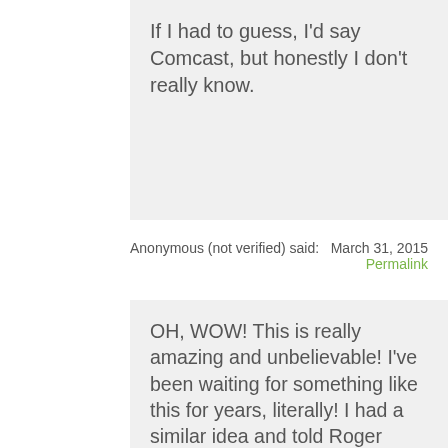If I had to guess, I'd say Comcast, but honestly I don't really know.
Anonymous (not verified) said:
March 31, 2015
Permalink
OH, WOW! This is really amazing and unbelievable! I've been waiting for something like this for years, literally! I had a similar idea and told Roger about it, but he didn't answer. Obviously, someone had the same idea like me.
This is the best news I've